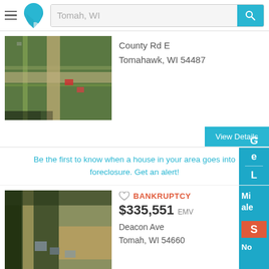Tomah, WI
County Rd E
Tomahawk, WI 54487
View Details
Be the first to know when a house in your area goes into foreclosure. Get an alert!
BANKRUPTCY
$335,551 EMV
Deacon Ave
Tomah, WI 54660
View Details
BANKRUPTCY